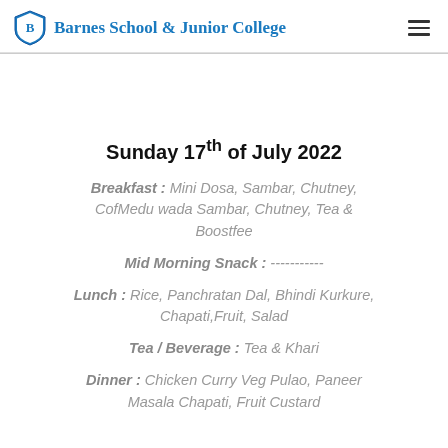Barnes School & Junior College
Sunday 17th of July 2022
Breakfast : Mini Dosa, Sambar, Chutney, CofMedu wada Sambar, Chutney, Tea & Boostfee
Mid Morning Snack : -----------
Lunch : Rice, Panchratan Dal, Bhindi Kurkure, Chapati,Fruit, Salad
Tea / Beverage : Tea & Khari
Dinner : Chicken Curry Veg Pulao, Paneer Masala Chapati, Fruit Custard